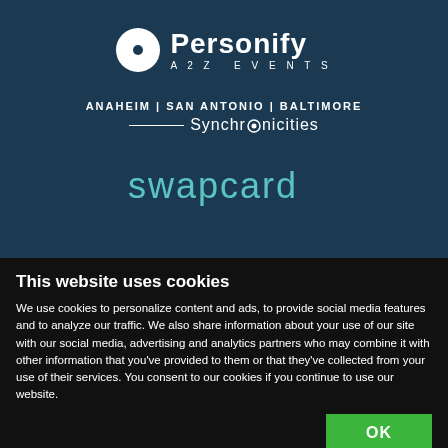[Figure (logo): Personify A2Z Events logo with white circle icon on dark blue background]
[Figure (logo): Synchronicities logo with ANAHEIM | SAN ANTONIO | BALTIMORE text on dark blue background]
[Figure (logo): Swapcard logo in teal/cyan color on dark blue background]
This website uses cookies
We use cookies to personalize content and ads, to provide social media features and to analyze our traffic. We also share information about your use of our site with our social media, advertising and analytics partners who may combine it with other information that you've provided to them or that they've collected from your use of their services. You consent to our cookies if you continue to use our website.
OK
Necessary | Preferences | Statistics | Marketing | Show details